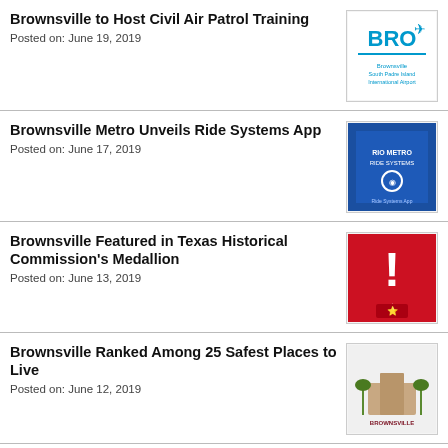Brownsville to Host Civil Air Patrol Training
Posted on: June 19, 2019
[Figure (logo): Brownsville South Padre Island International Airport logo (BRO)]
Brownsville Metro Unveils Ride Systems App
Posted on: June 17, 2019
[Figure (photo): Blue bus stop sign or app advertisement]
Brownsville Featured in Texas Historical Commission's Medallion
Posted on: June 13, 2019
[Figure (illustration): Red square with white exclamation mark and Texas icon]
Brownsville Ranked Among 25 Safest Places to Live
Posted on: June 12, 2019
[Figure (illustration): Brownsville city logo with palm trees and BTX engage overlay]
City of Brownsville Receives ‘Meet Me at the Park’ Grant to Increase Access to Local Play Spaces
Posted on: June 12, 2019